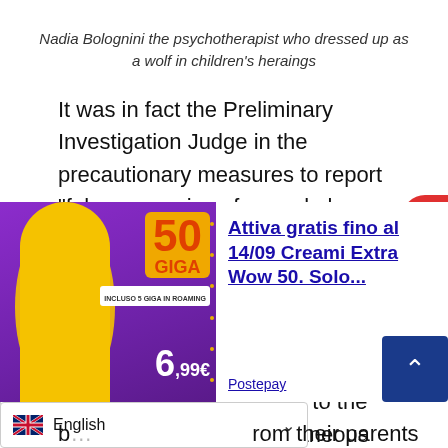Nadia Bolognini the psychotherapist who dressed up as a wolf in children's heraings
It was in fact the Preliminary Investigation Judge in the precautionary measures to report “false memories of sexual abuse engendered with the electrodes of that passed off to children as a souvenir machine”. It is the Neurotek, a device invented in the USA that transmits electromagnetic impulses to the child in order to cit spontaneous revelations. The use of this
[Figure (photo): Advertisement banner showing a woman in yellow shirt with 50 GIGA mobile data offer at 6.99€ with Attiva gratis fino al 14/09 Creami Extra Wow 50. Solo... text and Postepay sponsor link]
from their parents